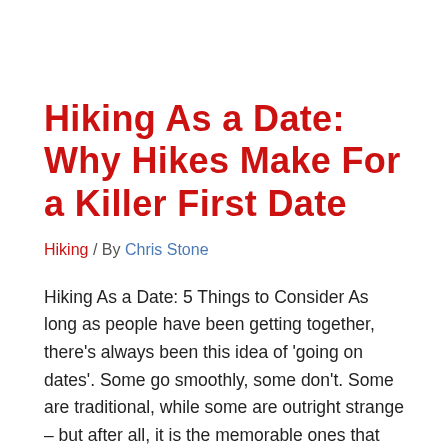Hiking As a Date: Why Hikes Make For a Killer First Date
Hiking / By Chris Stone
Hiking As a Date: 5 Things to Consider As long as people have been getting together, there’s always been this idea of ‘going on dates’. Some go smoothly, some don’t. Some are traditional, while some are outright strange – but after all, it is the memorable ones that are the best. Providing they are positive, …
Read More »